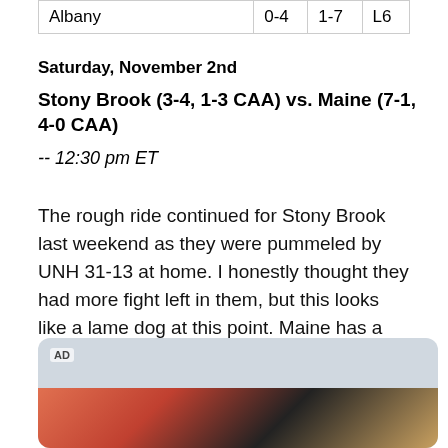| Albany | 0-4 | 1-7 | L6 |
Saturday, November 2nd
Stony Brook (3-4, 1-3 CAA) vs. Maine (7-1, 4-0 CAA)
-- 12:30 pm ET
The rough ride continued for Stony Brook last weekend as they were pummeled by UNH 31-13 at home. I honestly thought they had more fight left in them, but this looks like a lame dog at this point. Maine has a pretty easy ride home to the conference crown, with their only realistic threat the final at rivals New Hampshire.
[Figure (other): Advertisement placeholder with AD label and partial image strip at bottom]